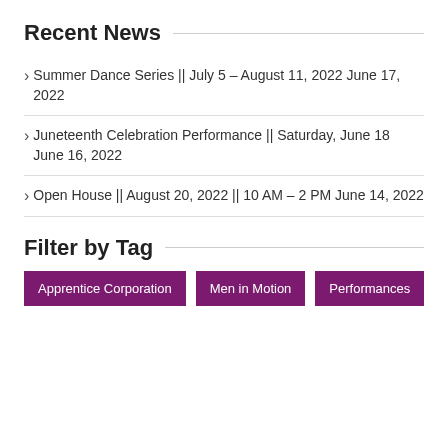Recent News
Summer Dance Series || July 5 – August 11, 2022 June 17, 2022
Juneteenth Celebration Performance || Saturday, June 18 June 16, 2022
Open House || August 20, 2022 || 10 AM – 2 PM June 14, 2022
Filter by Tag
Apprentice Corporation
Men in Motion
Performances